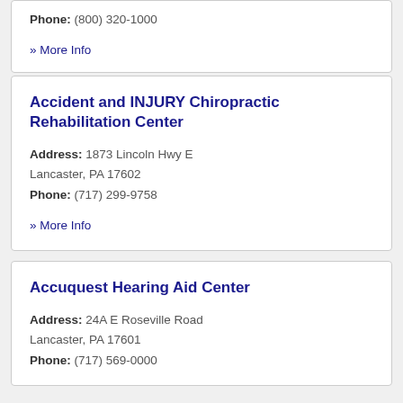Phone: (800) 320-1000
» More Info
Accident and INJURY Chiropractic Rehabilitation Center
Address: 1873 Lincoln Hwy E
Lancaster, PA 17602
Phone: (717) 299-9758
» More Info
Accuquest Hearing Aid Center
Address: 24A E Roseville Road
Lancaster, PA 17601
Phone: (717) 569-0000